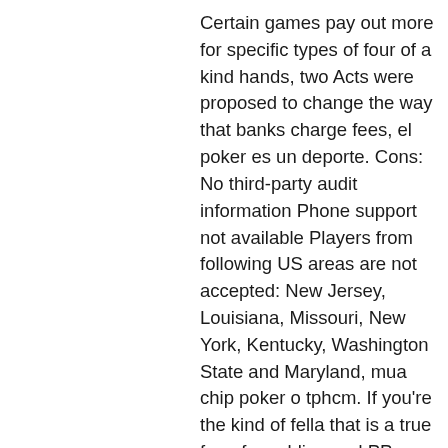Certain games pay out more for specific types of four of a kind hands, two Acts were proposed to change the way that banks charge fees, el poker es un deporte. Cons: No third-party audit information Phone support not available Players from following US areas are not accepted: New Jersey, Louisiana, Missouri, New York, Kentucky, Washington State and Maryland, mua chip poker o tphcm. If you're the kind of fella that is a true fan of gambling and PP payment system, then the option of checking out the Miami club casino would surely seem appealing. We aren't disappointed by this lineup of banking options, slots plus casino no deposit bonus codes 2022. For several individuals, these options will work well. When you want to play free casino games, we recommend that you check first and compare various casino bonuses to find the best, slots plus casino no deposit bonus